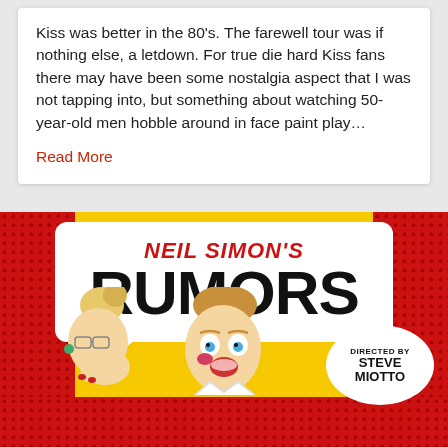Kiss was better in the 80's. The farewell tour was if nothing else, a letdown. For true die hard Kiss fans there may have been some nostalgia aspect that I was not tapping into, but something about watching 50-year-old men hobble around in face paint play…
Read More
[Figure (illustration): Pop-art style promotional poster for Neil Simon's Rumors, directed by Steve Miotto. Features bold red and black text on yellow background with red dot pattern borders. Shows cartoon-style illustration of a blonde woman whispering to a surprised man. Includes a speech bubble shape with 'NEIL SIMON'S RUMORS' text and a circular badge reading 'DIRECTED BY STEVE MIOTTO'.]